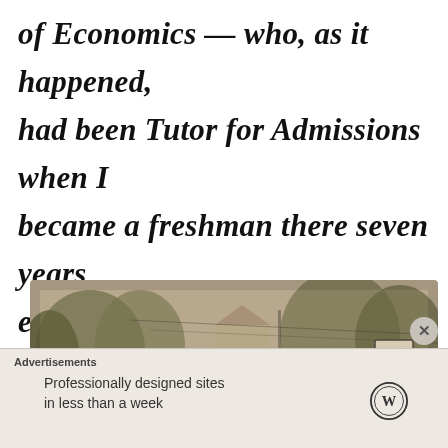of Economics — who, as it happened, had been Tutor for Admissions when I became a freshman there seven years earlier.
[Figure (photo): Vintage sepia-toned photograph showing a group of people outdoors near trees, power lines, and a house in the background. A 'No Parking Any Time' sign is visible on the right side. People's heads are visible in the foreground.]
Advertisements
Professionally designed sites in less than a week